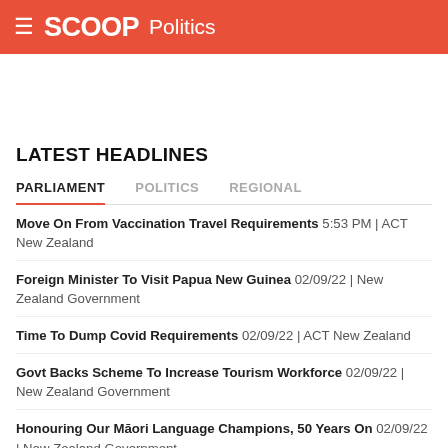SCOOP Politics
LATEST HEADLINES
PARLIAMENT | POLITICS | REGIONAL
Move On From Vaccination Travel Requirements 5:53 PM | ACT New Zealand
Foreign Minister To Visit Papua New Guinea 02/09/22 | New Zealand Government
Time To Dump Covid Requirements 02/09/22 | ACT New Zealand
Govt Backs Scheme To Increase Tourism Workforce 02/09/22 | New Zealand Government
Honouring Our Māori Language Champions, 50 Years On 02/09/22 | New Zealand Government
Minister Doesn't Understand Scale Of The Problem 01/09/22 | ACT New Zealand